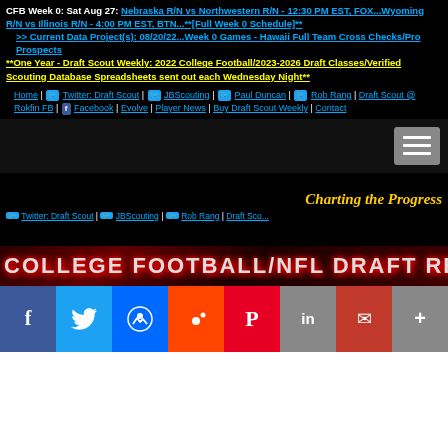CFB Week 0: Sat Aug 27: Nebraska R/N vs Northwestern R/N - 12:30 PM EST, FOX...Wyoming R/N vs Illinois R/N - 4:00 PM EST, BTN...**[Full Week 0 Schedule]** >> Current Data Project(s): 08/20/22...Week 0 Games - Hawaii Full Team Cross Checks/Pro Prospects **One Year - Draft Scout Weekly: 2022 College Football/2023-2026 Draft Classes/Verified Scouting Database Spreadsheets sent out each Wednesday Night**
Home | Twitter: Draft Scout | JBScouting | Paul Duncan | Rob Rang | Draft Scout @ Rokfin FB | Facebook | Evolve | Player News | Buy Draft Scout Weekly | Contact
[Figure (screenshot): Hamburger menu button on dark background]
Charting the Progress
Twitter: Draft Scout | JBScouting | Rob Rang | Draft Sco...
[Figure (photo): College Football/NFL Draft RE banner with red grunge text style]
[Figure (infographic): Social share bar with Facebook, Twitter, Messenger, Reddit, Pinterest, LinkedIn, Mail, More buttons]